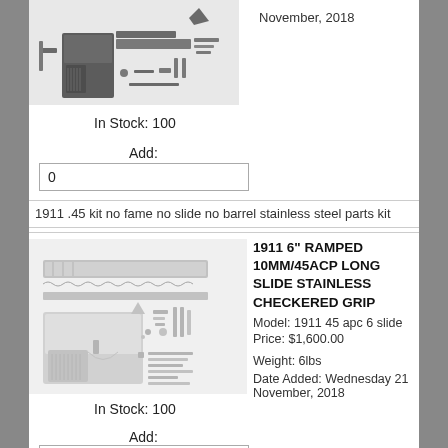[Figure (photo): Parts kit for 1911 .45 firearm, various components laid out]
November, 2018
In Stock: 100
Add:
0
1911 .45 kit no fame no slide no barrel stainless steel parts kit
[Figure (photo): 1911 6 inch ramped 10MM/45ACP long slide stainless checkered grip parts laid out including frame, slide, barrel, and various small components]
1911 6" RAMPED 10MM/45ACP LONG SLIDE STAINLESS CHECKERED GRIP
Model: 1911 45 apc 6 slide
Price: $1,600.00
Weight: 6lbs
Date Added: Wednesday 21 November, 2018
In Stock: 100
Add:
0